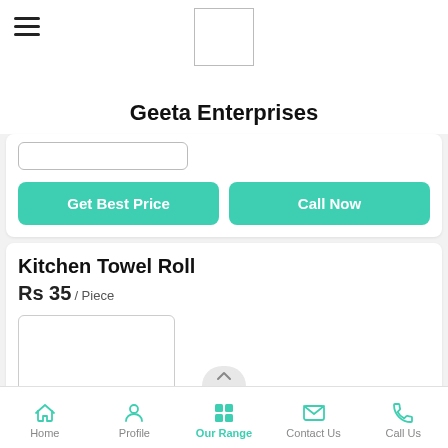Geeta Enterprises
[Figure (screenshot): Logo placeholder box]
Get Best Price
Call Now
Kitchen Towel Roll
Rs 35 / Piece
[Figure (photo): Product image placeholder for Kitchen Towel Roll]
Home   Profile   Our Range   Contact Us   Call Us